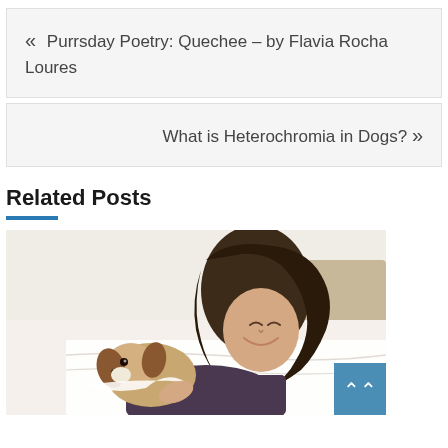« Purrsday Poetry: Quechee – by Flavia Rocha Loures
What is Heterochromia in Dogs? »
Related Posts
[Figure (photo): A smiling woman with long brown hair lying on a bed under white covers, with a small dog (appears to be a Cavalier King Charles Spaniel) beside her]